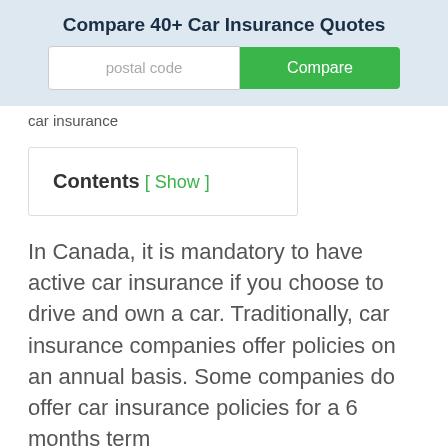[Figure (screenshot): Banner widget for comparing car insurance quotes. Contains title 'Compare 40+ Car Insurance Quotes', a postal code input field, and a green 'Compare' button.]
car insurance
In Canada, it is mandatory to have active car insurance if you choose to drive and own a car. Traditionally, car insurance companies offer policies on an annual basis. Some companies do offer car insurance policies for a 6 months term